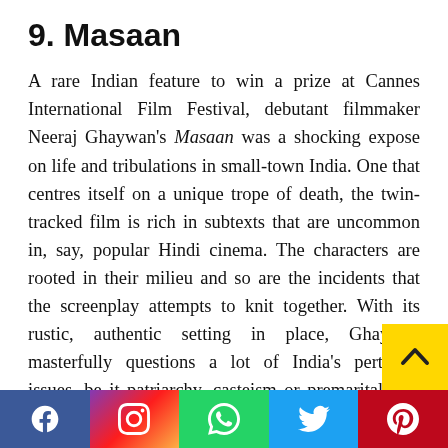9. Masaan
A rare Indian feature to win a prize at Cannes International Film Festival, debutant filmmaker Neeraj Ghaywan's Masaan was a shocking expose on life and tribulations in small-town India. One that centres itself on a unique trope of death, the twin-tracked film is rich in subtexts that are uncommon in, say, popular Hindi cinema. The characters are rooted in their milieu and so are the incidents that the screenplay attempts to knit together. With its rustic, authentic setting in place, Ghaywan masterfully questions a lot of India's pertinent issues, be it patriarchy, casteism or premarital sex. The finale gleams with a profound sense of amb[iguity, hint]ng at the writers' thought